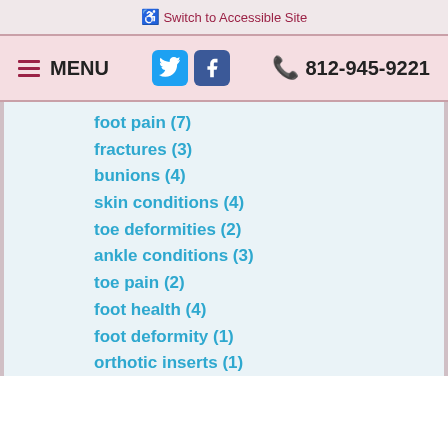Switch to Accessible Site
MENU   812-945-9221
foot pain (7)
fractures (3)
bunions (4)
skin conditions (4)
toe deformities (2)
ankle conditions (3)
toe pain (2)
foot health (4)
foot deformity (1)
orthotic inserts (1)
stress fractures (1)
skin conditions, calluses (1)
Podiatry (14)
sports injuries (1)
Foot Issues (5)
Foot Injury (4)